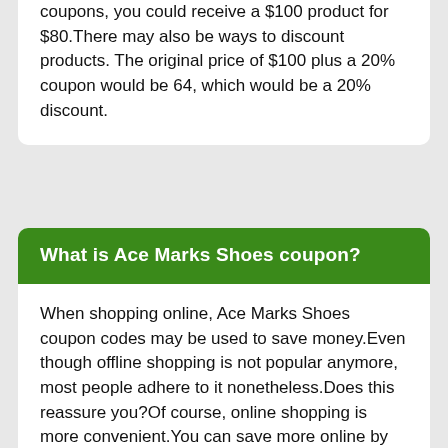coupons, you could receive a $100 product for $80.There may also be ways to discount products. The original price of $100 plus a 20% coupon would be 64, which would be a 20% discount.
What is Ace Marks Shoes coupon?
When shopping online, Ace Marks Shoes coupon codes may be used to save money.Even though offline shopping is not popular anymore, most people adhere to it nonetheless.Does this reassure you?Of course, online shopping is more convenient.You can save more online by manually verifying coupon.You can find a wide range of discounts here.They are all available for you here.